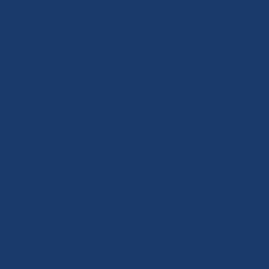'acrosstheAtlanticisfamily.
[Figure (logo): Twitter bird logo icon, blue rounded square background]